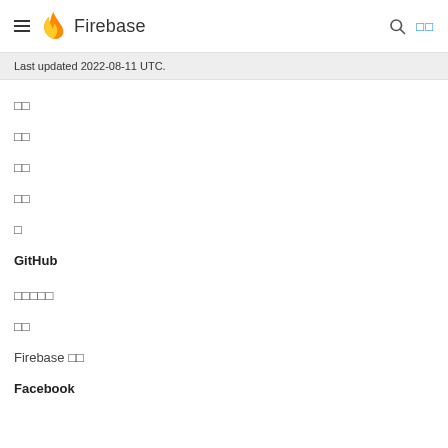Firebase
Last updated 2022-08-11 UTC.
□□
□□
□□
□□
□
GitHub
□□□□□
□□
Firebase □□
Facebook